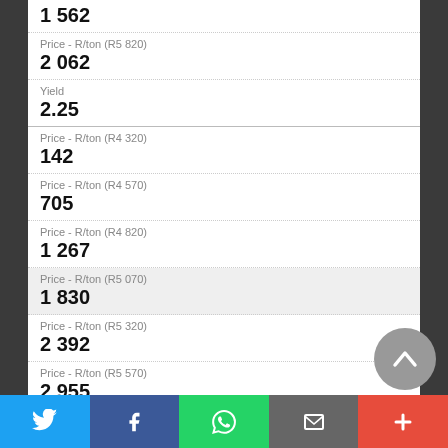1 562
Price - R/ton (R5 820)
2 062
Yield
2.25
Price - R/ton (R4 320)
142
Price - R/ton (R4 570)
705
Price - R/ton (R4 820)
1 267
Price - R/ton (R5 070)
1 830
Price - R/ton (R5 320)
2 392
Price - R/ton (R5 570)
2 955
Price - R/ton (R5 820)